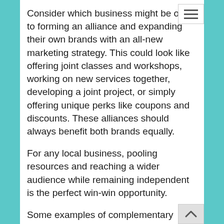Consider which business might be open to forming an alliance and expanding their own brands with an all-new marketing strategy. This could look like offering joint classes and workshops, working on new services together, developing a joint project, or simply offering unique perks like coupons and discounts. These alliances should always benefit both brands equally.
For any local business, pooling resources and reaching a wider audience while remaining independent is the perfect win-win opportunity.
Some examples of complementary services include...
Lawn Care Services and Home Cleaning Services